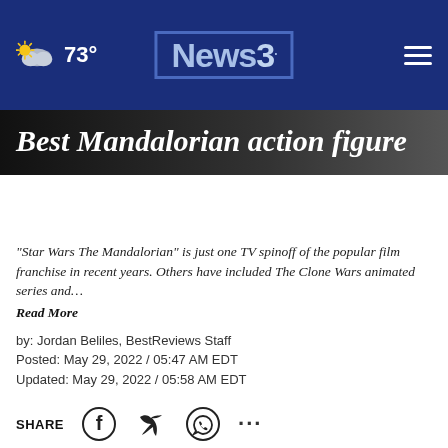73° News3
Best Mandalorian action figure
"Star Wars The Mandalorian" is just one TV spinoff of the popular film franchise in recent years. Others have included The Clone Wars animated series and… Read More
by: Jordan Beliles, BestReviews Staff
Posted: May 29, 2022 / 05:47 AM EDT
Updated: May 29, 2022 / 05:58 AM EDT
SHARE
BestReviews is reader-supported and may earn an affiliate commission. Details.